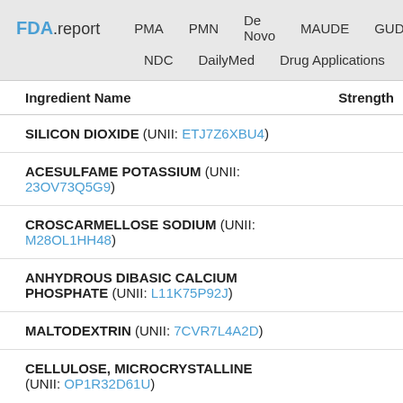FDA.report  PMA  PMN  De Novo  MAUDE  GUDID  NDC  DailyMed  Drug Applications
| Ingredient Name | Strength |
| --- | --- |
| SILICON DIOXIDE (UNII: ETJ7Z6XBU4) |  |
| ACESULFAME POTASSIUM (UNII: 23OV73Q5G9) |  |
| CROSCARMELLOSE SODIUM (UNII: M28OL1HH48) |  |
| ANHYDROUS DIBASIC CALCIUM PHOSPHATE (UNII: L11K75P92J) |  |
| MALTODEXTRIN (UNII: 7CVR7L4A2D) |  |
| CELLULOSE, MICROCRYSTALLINE (UNII: OP1R32D61U) |  |